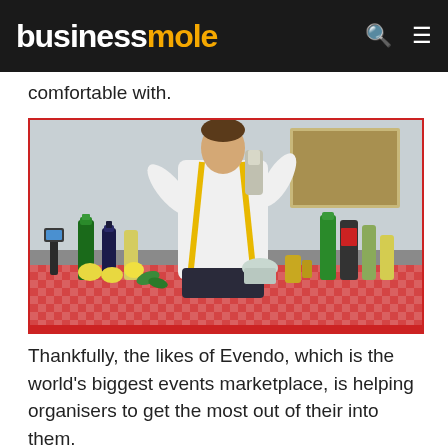businessmole
comfortable with.
[Figure (photo): A male bartender wearing a white shirt and yellow suspenders shaking a cocktail shaker, standing behind a table covered with a red-checked tablecloth with bottles, lemons, and bar tools.]
Thankfully, the likes of Evendo, which is the world's biggest events marketplace, is helping organisers to get the most out of their into them.